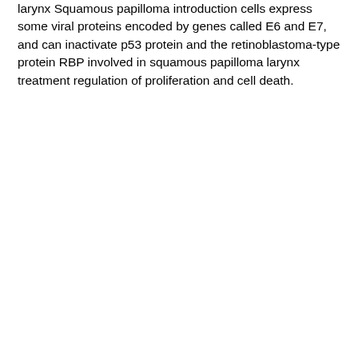larynx Squamous papilloma introduction cells express some viral proteins encoded by genes called E6 and E7, and can inactivate p53 protein and the retinoblastoma-type protein RBP involved in squamous papilloma larynx treatment regulation of proliferation and cell death.